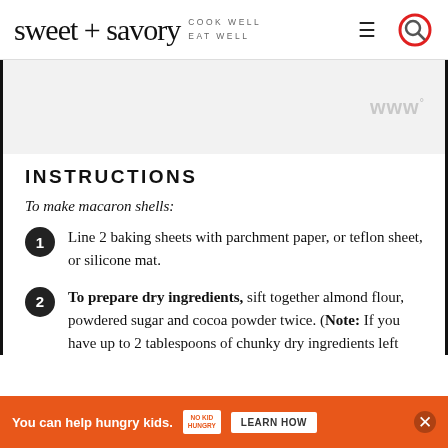sweet + savory COOK WELL EAT WELL
[Figure (screenshot): Gray placeholder ad area with WW logo watermark in light gray]
INSTRUCTIONS
To make macaron shells:
1. Line 2 baking sheets with parchment paper, or teflon sheet, or silicone mat.
2. To prepare dry ingredients, sift together almond flour, powdered sugar and cocoa powder twice. (Note: If you have up to 2 tablespoons of chunky dry ingredients left
[Figure (infographic): Orange advertisement banner: You can help hungry kids. No Kid Hungry. LEARN HOW button.]